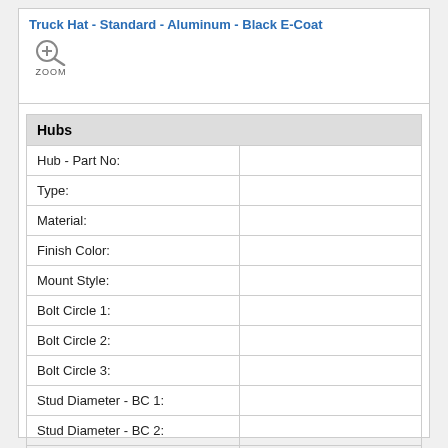Truck Hat - Standard - Aluminum - Black E-Coat
[Figure (other): Zoom magnifier icon with a plus sign and ZOOM label below]
| Hubs |  |
| --- | --- |
| Hub - Part No: |  |
| Type: |  |
| Material: |  |
| Finish Color: |  |
| Mount Style: |  |
| Bolt Circle 1: |  |
| Bolt Circle 2: |  |
| Bolt Circle 3: |  |
| Stud Diameter - BC 1: |  |
| Stud Diameter - BC 2: |  |
| Stud Diameter - BC 3: |  |